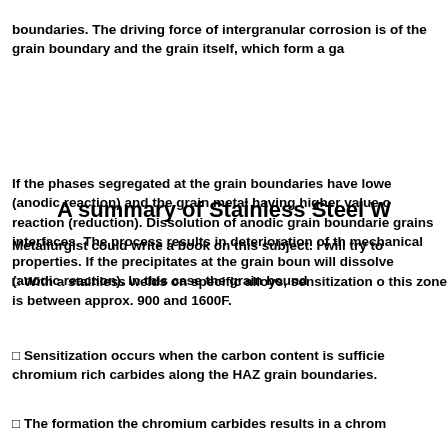boundaries. The driving force of intergranular corrosion is of the grain boundary and the grain itself, which form a ga
If the phases segregated at the grain boundaries have lowe (anodic reaction) and the grain metal having higher value o reaction (reduction). Dissolution of anodic grain boundarie grains interfaces. The process results in deterioration of th mechanical properties. If the precipitates at the grain boun will dissolve (anodic reaction). In this case the grain bound
A summary of Stainless Steel W
Metallurgist could write a book on this subject. I will try to
[] With a stainless welds on specific alloys, sensitization o this zone is between approx. 900 and 1600F.
[] Sensitization occurs when the carbon content is sufficie chromium rich carbides along the HAZ grain boundaries.
[] The formation the chromium carbides results in a chrom